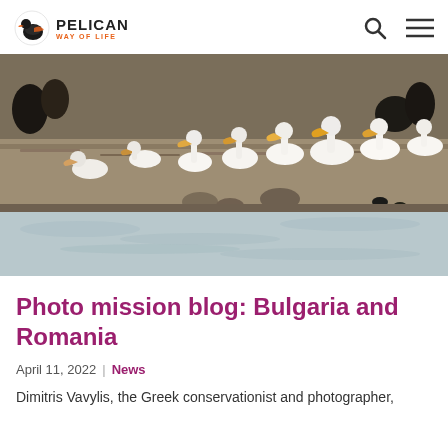PELICAN WAY OF LIFE
[Figure (photo): A group of white pelicans standing on a muddy shoreline near a body of water, with dark birds visible in the background. The landscape is dry and brown with sparse vegetation.]
Photo mission blog: Bulgaria and Romania
April 11, 2022  |  News
Dimitris Vavylis, the Greek conservationist and photographer,